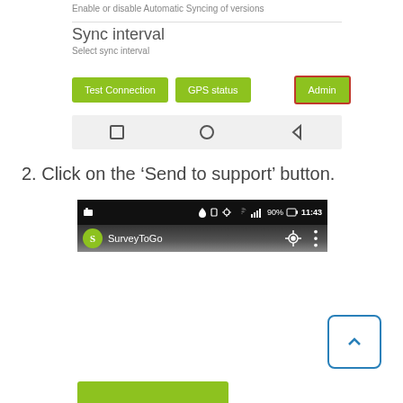Enable or disable Automatic Syncing of versions
Sync interval
Select sync interval
[Figure (screenshot): Three green buttons: Test Connection, GPS status, Admin (Admin has red/orange border). Below is a navigation bar with square, circle, and back triangle icons.]
2. Click on the ‘Send to support’ button.
[Figure (screenshot): Android app screenshot showing status bar with SurveyToGo app. Below it are three green buttons: Send to support (with red border), test external storage, Fix Empty Surveyors, and a partial fourth button. A blue scroll-to-top button is on the right.]